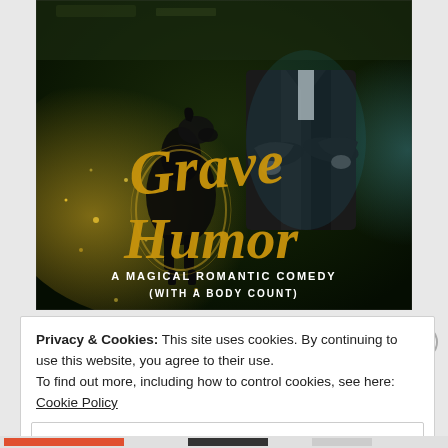[Figure (illustration): Book cover for 'Grave Humor – A Magical Romantic Comedy (With a Body Count)'. Dark fantasy cover showing a man in a leather jacket with arms crossed, a dark greyhound dog beside him, with glowing yellow-green magical flames/sparks. Title 'Grave Humor' in large golden script lettering, subtitle 'A Magical Romantic Comedy (With a Body Count)' in white spaced text at the bottom.]
Privacy & Cookies: This site uses cookies. By continuing to use this website, you agree to their use.
To find out more, including how to control cookies, see here: Cookie Policy
Close and accept